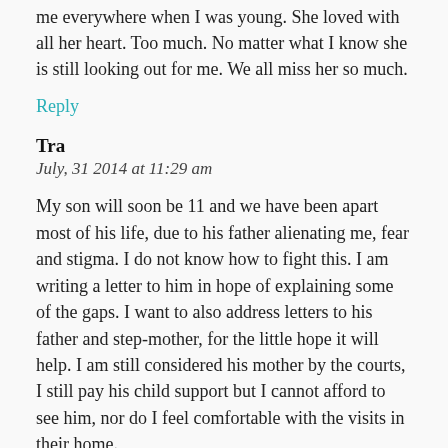me everywhere when I was young. She loved with all her heart. Too much. No matter what I know she is still looking out for me. We all miss her so much.
Reply
Tra
July, 31 2014 at 11:29 am
My son will soon be 11 and we have been apart most of his life, due to his father alienating me, fear and stigma. I do not know how to fight this. I am writing a letter to him in hope of explaining some of the gaps. I want to also address letters to his father and step-mother, for the little hope it will help. I am still considered his mother by the courts, I still pay his child support but I cannot afford to see him, nor do I feel comfortable with the visits in their home.
I am not a bad person. I have lost health insurance, lost my disability and only have part-time work. I want to live